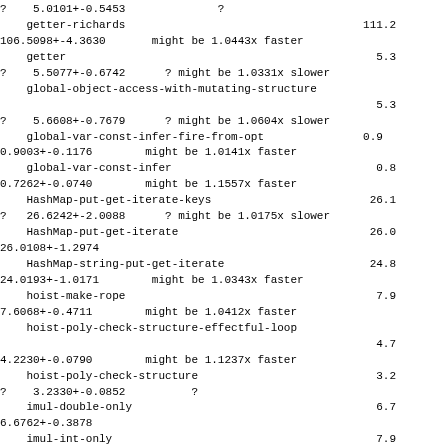?    5.0101+-0.5453              ?
    getter-richards                                    111.2
106.5098+-4.3630       might be 1.0443x faster
    getter                                               5.3
?    5.5077+-0.6742      ? might be 1.0331x slower
    global-object-access-with-mutating-structure
                                                         5.3
?    5.6608+-0.7679      ? might be 1.0604x slower
    global-var-const-infer-fire-from-opt               0.9
0.9003+-0.1176        might be 1.0141x faster
    global-var-const-infer                               0.8
0.7262+-0.0740        might be 1.1557x faster
    HashMap-put-get-iterate-keys                        26.1
?   26.6242+-2.0088      ? might be 1.0175x slower
    HashMap-put-get-iterate                             26.0
26.0108+-1.2974
    HashMap-string-put-get-iterate                      24.8
24.0193+-1.0171        might be 1.0343x faster
    hoist-make-rope                                      7.9
7.6068+-0.4711        might be 1.0412x faster
    hoist-poly-check-structure-effectful-loop
                                                         4.7
4.2230+-0.0790        might be 1.1237x faster
    hoist-poly-check-structure                           3.2
?    3.2330+-0.0852          ?
    imul-double-only                                     6.7
6.6762+-0.3878
    imul-int-only                                        7.9
?    8.1891+-0.6864      ? might be 1.0362x slower
    imul-mixed                                           7.2
6.9945+-0.0320        might be 1.0495x faster